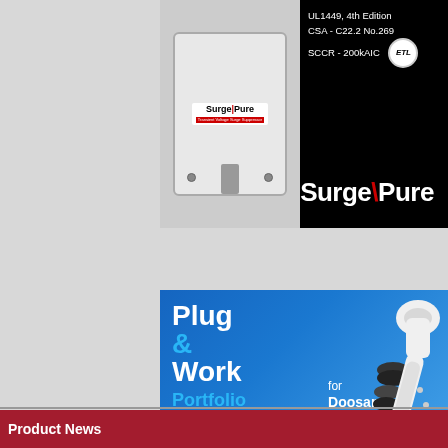[Figure (illustration): SurgePure advertisement on black background showing surge suppressor device on left and SurgePure logo on right with certifications: UL1449 4th Edition, CSA-C22.2 No.269, SCCR-200kAIC, ETL listed badge]
[Figure (illustration): Plug & Work Portfolio for Doosan Robotics advertisement on blue gradient background with white and cyan text and exploded view of robotic end-effector components]
Product News